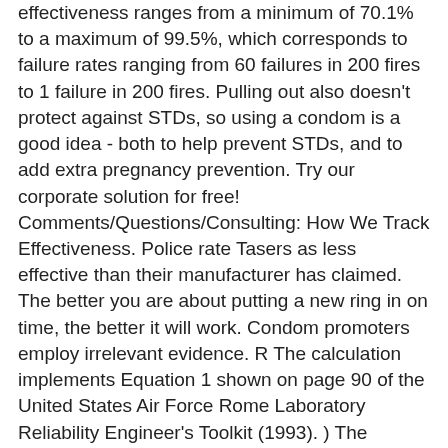effectiveness ranges from a minimum of 70.1% to a maximum of 99.5%, which corresponds to failure rates ranging from 60 failures in 200 fires to 1 failure in 200 fires. Pulling out also doesn't protect against STDs, so using a condom is a good idea - both to help prevent STDs, and to add extra pregnancy prevention. Try our corporate solution for free! Comments/Questions/Consulting: How We Track Effectiveness. Police rate Tasers as less effective than their manufacturer has claimed. The better you are about putting a new ring in on time, the better it will work. Condom promoters employ irrelevant evidence. R The calculation implements Equation 1 shown on page 90 of the United States Air Force Rome Laboratory Reliability Engineer's Toolkit (1993). ) The probability density function (pdf) is denoted by f(t). If you use it perfectly, NuvaRing is 99% effective. – The statistic shows a ranking of iPhone models worldwide by failure rate in the second quarter of 2017 and the first quarter of 2018. ) to Study Raises Questions About False Negatives From Quick COVID-19 Test : Shots - Health News